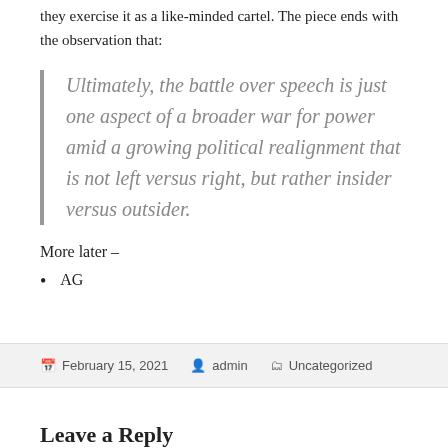they exercise it as a like-minded cartel. The piece ends with the observation that:
Ultimately, the battle over speech is just one aspect of a broader war for power amid a growing political realignment that is not left versus right, but rather insider versus outsider.
More later –
AG
February 15, 2021  admin  Uncategorized
Leave a Reply